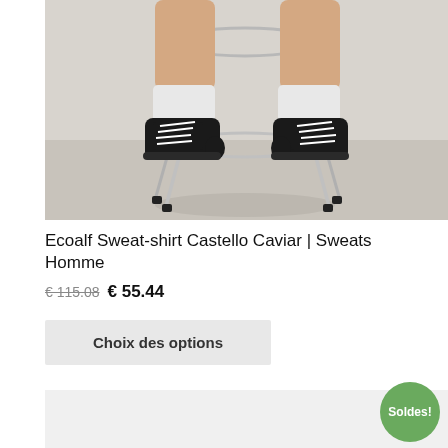[Figure (photo): Photo of a man's lower body seated on a chrome bar stool, wearing black sneakers with white laces and white socks, on a white background.]
Ecoalf Sweat-shirt Castello Caviar | Sweats Homme
€ 115.08  € 55.44
Choix des options
[Figure (photo): Partial product image, bottom of page, light grey background with Soldes! badge.]